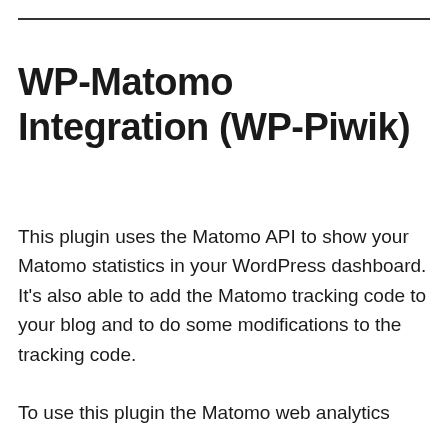WP-Matomo Integration (WP-Piwik)
This plugin uses the Matomo API to show your Matomo statistics in your WordPress dashboard. It's also able to add the Matomo tracking code to your blog and to do some modifications to the tracking code.
To use this plugin the Matomo web analytics